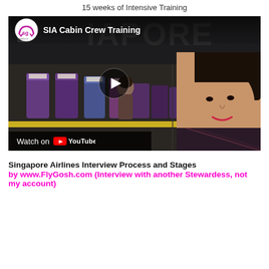15 weeks of Intensive Training
[Figure (screenshot): YouTube video thumbnail for 'SIA Cabin Crew Training' from Workforce Singapore (WSG). Shows interior of Singapore Airlines cabin training mock-up with purple/blue business class seats and a woman in SIA uniform. A play button is visible in the center. A 'Watch on YouTube' bar appears at the bottom left.]
Singapore Airlines Interview Process and Stages by www.FlyGosh.com (Interview with another Stewardess, not my account)